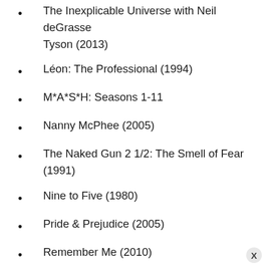The Inexplicable Universe with Neil deGrasse Tyson (2013)
Léon: The Professional (1994)
M*A*S*H: Seasons 1-11
Nanny McPhee (2005)
The Naked Gun 2 1/2: The Smell of Fear (1991)
Nine to Five (1980)
Pride & Prejudice (2005)
Remember Me (2010)
Rock Star (2001)
The Sandman (2022)